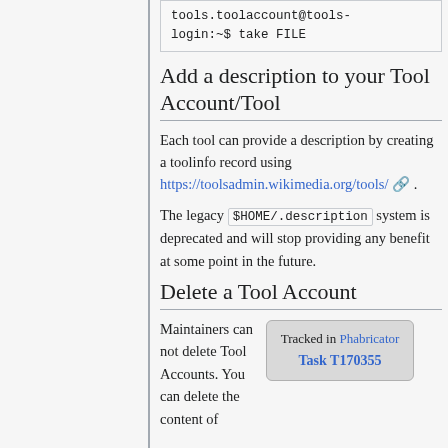tools.toolaccount@tools-login:~$ take FILE
Add a description to your Tool Account/Tool
Each tool can provide a description by creating a toolinfo record using https://toolsadmin.wikimedia.org/tools/.
The legacy $HOME/.description system is deprecated and will stop providing any benefit at some point in the future.
Delete a Tool Account
Maintainers can not delete Tool Accounts. You can delete the content of
Tracked in Phabricator Task T170355